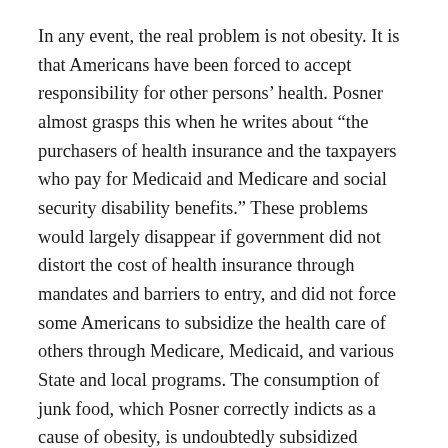In any event, the real problem is not obesity. It is that Americans have been forced to accept responsibility for other persons' health. Posner almost grasps this when he writes about “the purchasers of health insurance and the taxpayers who pay for Medicaid and Medicare and social security disability benefits.” These problems would largely disappear if government did not distort the cost of health insurance through mandates and barriers to entry, and did not force some Americans to subsidize the health care of others through Medicare, Medicaid, and various State and local programs. The consumption of junk food, which Posner correctly indicts as a cause of obesity, is undoubtedly subsidized (indirectly) by welfare payments and food stamps.
The growing fraction of Americans who are considered